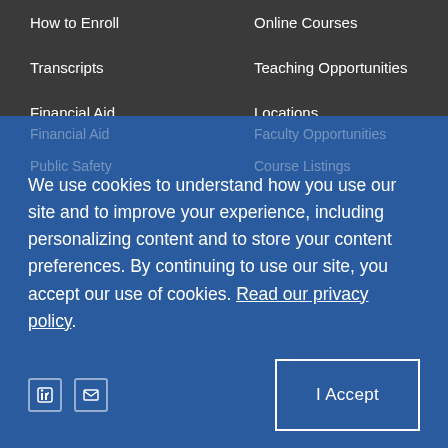How to Enroll
Online Courses
Transcripts
Teaching Opportunities
Financial Aid
Locations
We use cookies to understand how you use our site and to improve your experience, including personalizing content and to store your content preferences. By continuing to use our site, you accept our use of cookies. Read our privacy policy.
I Accept